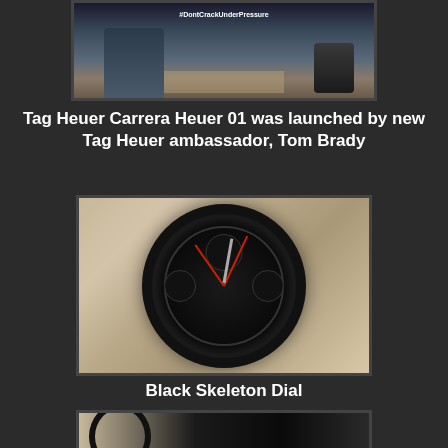[Figure (photo): Tom Brady in a dark shirt holding a football with #DontCrackUnderPressure text overlay, advertising Tag Heuer watch]
Tag Heuer Carrera Heuer 01 was launched by new Tag Heuer ambassador, Tom Brady
[Figure (photo): Close-up photo of Tag Heuer Carrera Heuer 01 watch with black skeleton dial, showing chronograph subdials and red hands on black bezel]
Black Skeleton Dial
[Figure (photo): Partially visible watch photo at bottom of page]